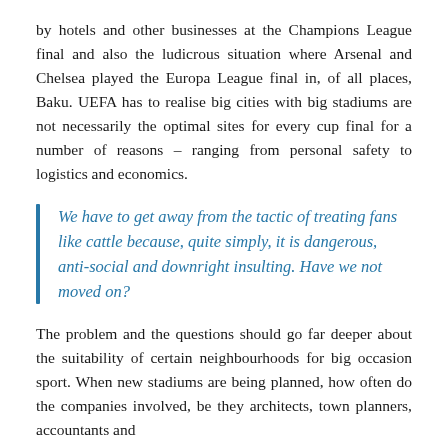by hotels and other businesses at the Champions League final and also the ludicrous situation where Arsenal and Chelsea played the Europa League final in, of all places, Baku. UEFA has to realise big cities with big stadiums are not necessarily the optimal sites for every cup final for a number of reasons – ranging from personal safety to logistics and economics.
We have to get away from the tactic of treating fans like cattle because, quite simply, it is dangerous, anti-social and downright insulting. Have we not moved on?
The problem and the questions should go far deeper about the suitability of certain neighbourhoods for big occasion sport. When new stadiums are being planned, how often do the companies involved, be they architects, town planners, accountants and